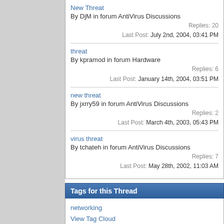New Threat
By DjM in forum AntiVirus Discussions
Replies: 20
Last Post: July 2nd, 2004, 03:41 PM
threat
By kpramod in forum Hardware
Replies: 6
Last Post: January 14th, 2004, 03:51 PM
new threat
By jxrry59 in forum AntiVirus Discussions
Replies: 2
Last Post: March 4th, 2003, 05:43 PM
virus threat
By tchateh in forum AntiVirus Discussions
Replies: 7
Last Post: May 28th, 2002, 11:03 AM
Tags for this Thread
networking
View Tag Cloud
Posting Permissions
|  |  |
| --- | --- |
| You may not post new threads | BB code is On |
| You may not post replies | Smilies are On |
| You may not post attachments | [IMG] code is On |
| You may not | [VIDEO] code is On |
|  | HTML code |